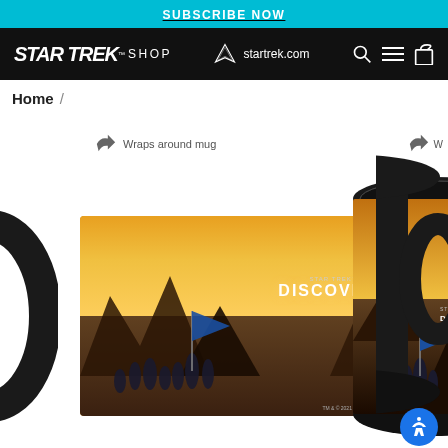SUBSCRIBE NOW
STAR TREK SHOP | startrek.com
Home /
[Figure (photo): Star Trek Discovery black mugs product page showing two black ceramic mugs with Star Trek Discovery cast artwork wrapping around them. An annotation arrow reads 'Wraps around mug'. Left side shows a partial ring of a third mug.]